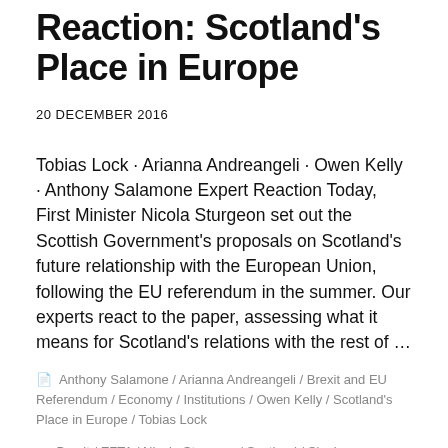Reaction: Scotland's Place in Europe
20 DECEMBER 2016
Tobias Lock · Arianna Andreangeli · Owen Kelly · Anthony Salamone Expert Reaction Today, First Minister Nicola Sturgeon set out the Scottish Government's proposals on Scotland's future relationship with the European Union, following the EU referendum in the summer. Our experts react to the paper, assessing what it means for Scotland's relations with the rest of …
Anthony Salamone / Arianna Andreangeli / Brexit and EU Referendum / Economy / Institutions / Owen Kelly / Scotland's Place in Europe / Tobias Lock
Brexit / EFTA / Nicola Sturgeon / Scotland / Single